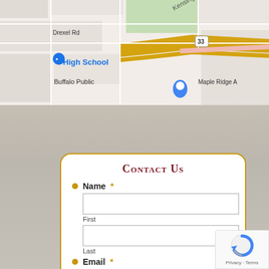[Figure (map): Google Maps screenshot showing area near Buffalo Public High School, with streets including Drexel Rd, Kensington Ave, and Maple Ridge Ave, showing route 33 highway intersection]
Contact Us
Name *
First
Last
Email *
[Figure (logo): Google reCAPTCHA badge with Privacy and Terms links]